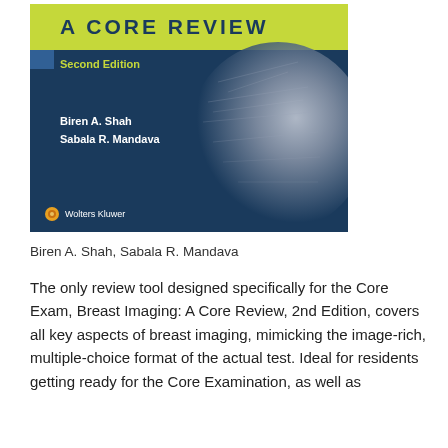[Figure (illustration): Book cover of 'Breast Imaging: A Core Review, Second Edition' by Biren A. Shah and Sabala R. Mandava, published by Wolters Kluwer. Dark navy blue cover with a yellow-green title bar at top, mammography image on the right side.]
Biren A. Shah, Sabala R. Mandava
The only review tool designed specifically for the Core Exam, Breast Imaging: A Core Review, 2nd Edition, covers all key aspects of breast imaging, mimicking the image-rich, multiple-choice format of the actual test. Ideal for residents getting ready for the Core Examination, as well as